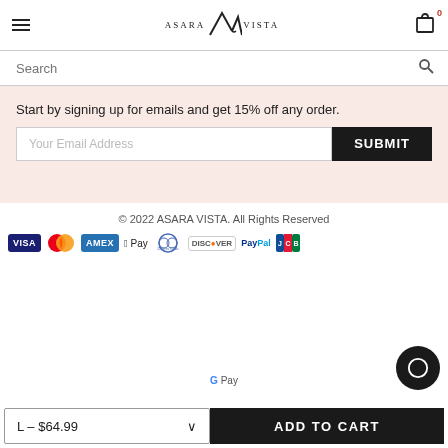ASARA VISTA — Navigation header with hamburger menu and cart (0 items)
Search
Start by signing up for emails and get 15% off any order.
Your Email Address
SUBMIT
© 2022 ASARA VISTA. All Rights Reserved
[Figure (other): Payment method logos: Visa, Mastercard, Amex, Apple Pay, Diners Club, Discover, PayPal, JCB, G Pay]
L – $64.99
ADD TO CART